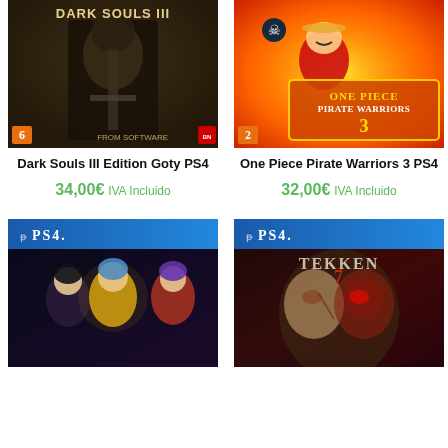[Figure (photo): Dark Souls III Edition Goty PS4 game cover - dark armored knight with sword]
[Figure (photo): One Piece Pirate Warriors 3 PS4 game cover - Luffy with fire background]
Dark Souls III Edition Goty PS4
34,00€ IVA Incluido
One Piece Pirate Warriors 3 PS4
32,00€ IVA Incluido
[Figure (photo): PS4 Saint Seiya anime game cover with characters]
[Figure (photo): Tekken 7 PS4 game cover with fighter face split red and dark]